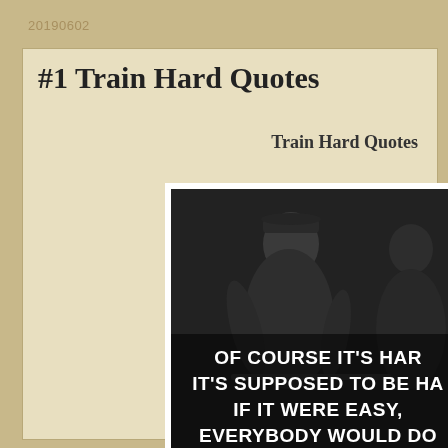20190602
#1 Train Hard Quotes
Train Hard Quotes
[Figure (photo): Black and white photo of a woman wearing a backwards cap and sports top, appearing to work out in a gym. Overlaid with motivational text: 'OF COURSE IT'S HARD. IT'S SUPPOSED TO BE HARD. IF IT WERE EASY, EVERYBODY WOULD DO IT.']